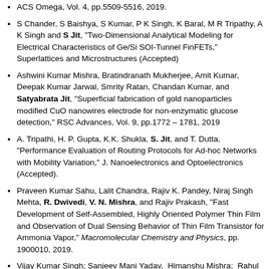ACS Omega, Vol. 4, pp.5509-5516, 2019.
S Chander, S Baishya, S Kumar, P K Singh, K Baral, M R Tripathy, A K Singh and S Jit, "Two-Dimensional Analytical Modeling for Electrical Characteristics of Ge/Si SOI-Tunnel FinFETs," Superlattices and Microstructures (Accepted)
Ashwini Kumar Mishra, Bratindranath Mukherjee, Amit Kumar, Deepak Kumar Jarwal, Smrity Ratan, Chandan Kumar, and Satyabrata Jit, "Superficial fabrication of gold nanoparticles modified CuO nanowires electrode for non-enzymatic glucose detection," RSC Advances, Vol. 9, pp.1772 – 1781, 2019
A. Tripathi, H. P. Gupta, K.K. Shukla, S. Jit, and T. Dutta, "Performance Evaluation of Routing Protocols for Ad-hoc Networks with Mobility Variation," J. Nanoelectronics and Optoelectronics (Accepted).
Praveen Kumar Sahu, Lalit Chandra, Rajiv K. Pandey, Niraj Singh Mehta, R. Dwivedi, V. N. Mishra, and Rajiv Prakash, "Fast Development of Self-Assembled, Highly Oriented Polymer Thin Film and Observation of Dual Sensing Behavior of Thin Film Transistor for Ammonia Vapor," Macromolecular Chemistry and Physics, pp. 1900010, 2019.
Vijay Kumar Singh; Sanjeev Mani Yadav, Himanshu Mishra; Rahul Kumar, Radhey Shyam Tiwari, Amritanshu Pandey, and Anchal Srivastava, "WS2 Quantum Dot Graphene Nanocomposite Film for...